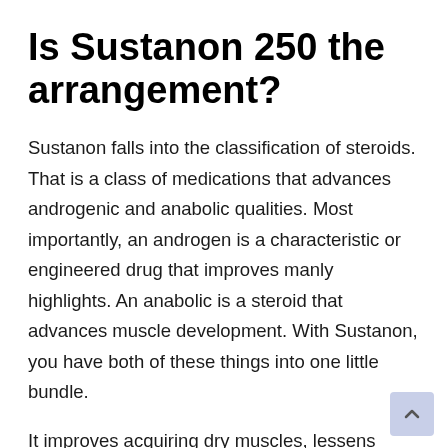Is Sustanon 250 the arrangement?
Sustanon falls into the classification of steroids. That is a class of medications that advances androgenic and anabolic qualities. Most importantly, an androgen is a characteristic or engineered drug that improves manly highlights. An anabolic is a steroid that advances muscle development. With Sustanon, you have both of these things into one little bundle.
It improves acquiring dry muscles, lessens water maintenance, and consumes fat simultaneously. When taking it, you should take